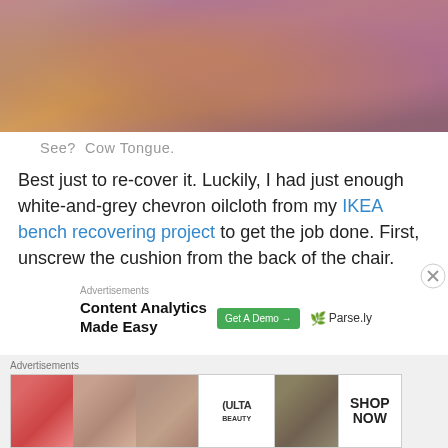[Figure (photo): Close-up photograph of textured pink/purple material resembling a cow tongue, with a wooden surface visible in the lower portion]
See?  Cow Tongue.
Best just to re-cover it. Luckily, I had just enough white-and-grey chevron oilcloth from my IKEA bench recovering project to get the job done. First, unscrew the cushion from the back of the chair.
Advertisements
Content Analytics Made Easy  [Get A Demo →]  🌿 Parse.ly
Advertisements
[ULTA beauty banner ad: SHOP NOW]